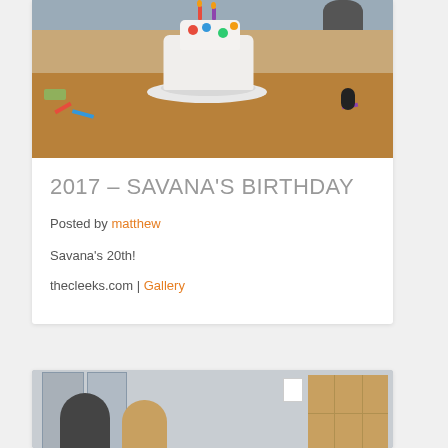[Figure (photo): Photo of a birthday cake on a wooden table with colorful polka dots and candles on top, scattered items on the table, person visible at top right]
2017 – SAVANA'S BIRTHDAY
Posted by matthew
Savana's 20th!
thecleeks.com | Gallery
[Figure (photo): Photo of people in what appears to be a room or hallway with lockers visible in the background]